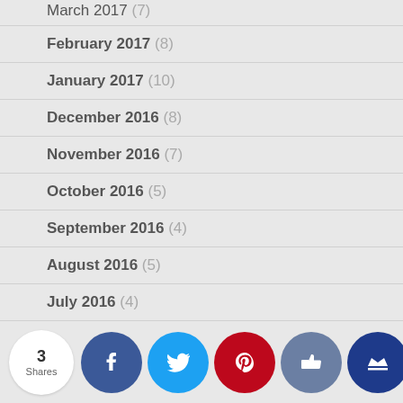March 2017 (7)
February 2017 (8)
January 2017 (10)
December 2016 (8)
November 2016 (7)
October 2016 (5)
September 2016 (4)
August 2016 (5)
July 2016 (4)
June 2016
[Figure (infographic): Social share bar with count 3 Shares and buttons for Facebook, Twitter, Pinterest, Like, and Crown]